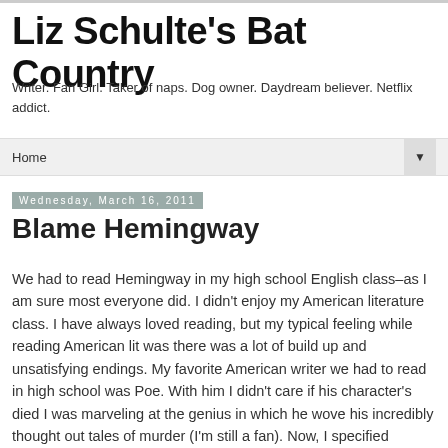Liz Schulte's Bat Country
Writer. Fan Girl. Taker of naps. Dog owner. Daydream believer. Netflix addict.
Home ▼
Wednesday, March 16, 2011
Blame Hemingway
We had to read Hemingway in my high school English class–as I am sure most everyone did. I didn't enjoy my American literature class. I have always loved reading, but my typical feeling while reading American lit was there was a lot of build up and unsatisfying endings. My favorite American writer we had to read in high school was Poe. With him I didn't care if his character's died I was marveling at the genius in which he wove his incredibly thought out tales of murder (I'm still a fan). Now, I specified American because I adored everything